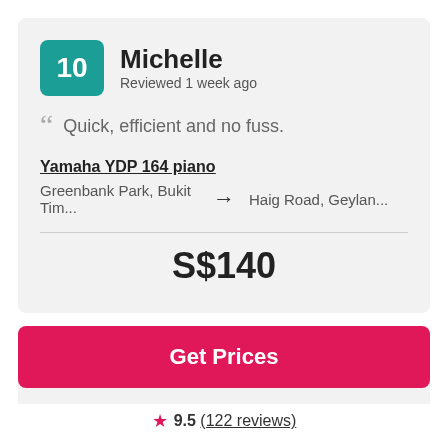10
Michelle
Reviewed 1 week ago
Quick, efficient and no fuss.
Yamaha YDP 164 piano
Greenbank Park, Bukit Tim... → Haig Road, Geylan...
S$140
Get Prices
9.5 (122 reviews)